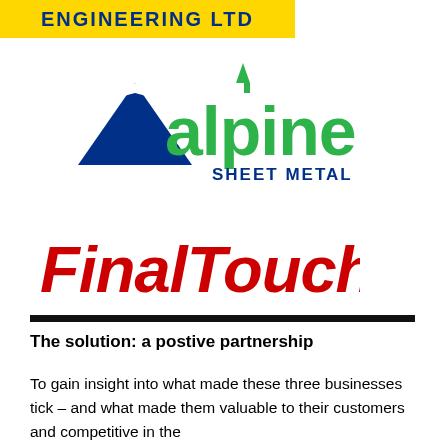[Figure (logo): Partial logo banner with text 'ENGINEERING LTD' on yellow background]
[Figure (logo): Alpine Sheet Metal logo: blue mountain triangle icon, green 'alpine' text, blue 'SHEET METAL' text]
[Figure (logo): FinalTouch logo in bold red italic text]
The solution: a postive partnership
To gain insight into what made these three businesses tick – and what made them valuable to their customers and competitive in the